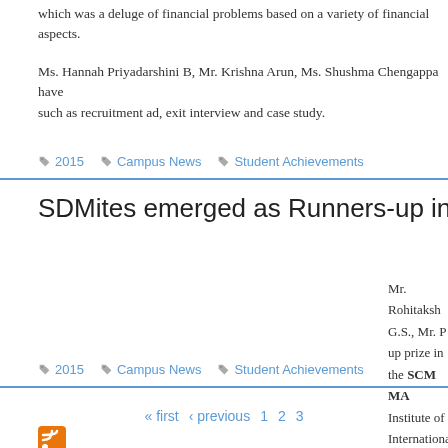which was a deluge of financial problems based on a variety of financial aspects.
Ms. Hannah Priyadarshini B, Mr. Krishna Arun, Ms. Shushma Chengappa have such as recruitment ad, exit interview and case study.
2015   Campus News   Student Achievements
SDMites emerged as Runners-up in SCM Event
Mr. Rohitaksh G.S., Mr. P up prize in the SCM MA Institute of International B India initiative". The event comprising of 2 in "Make in India" initiat Indore, IIM Ranchi, Weling
2015   Campus News   Student Achievements
« first   ‹ previous   1   2   3